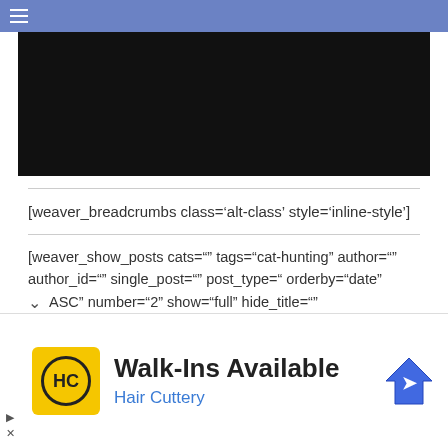☰
[Figure (screenshot): Black rectangle representing a video or image placeholder]
[weaver_breadcrumbs class='alt-class' style='inline-style']
[weaver_show_posts cats="" tags="cat-hunting" author="" author_id="" single_post="" post_type=" orderby="date" ASC" number="2" show="full" hide_title=""
[Figure (infographic): Advertisement: Walk-Ins Available - Hair Cuttery, with HC logo and navigation icon]